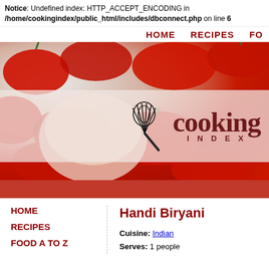Notice: Undefined index: HTTP_ACCEPT_ENCODING in /home/cookingindex/public_html/includes/dbconnect.php on line 6
HOME   RECIPES   FO
[Figure (photo): Hero banner showing red bell peppers background with semi-transparent white band overlay containing a whisk illustration and the 'cooking INDEX' logo in dark red, followed by a solid red stripe below.]
HOME
RECIPES
FOOD A TO Z
Handi Biryani
Cuisine: Indian
Serves: 1 people